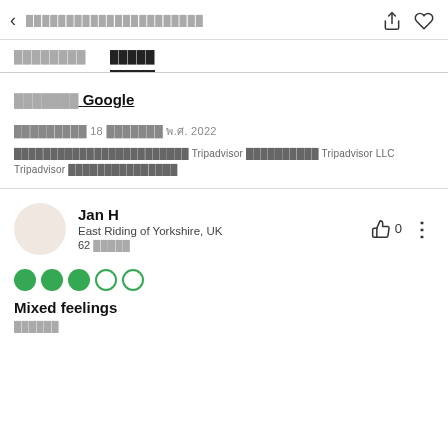< [nav title placeholder] [share icon] [heart icon]
[tab 1 placeholder]   [tab 2 placeholder - active]
[redacted] Google
[redacted] 18 [redacted] พ.ศ. 2022
[redacted] Tripadvisor [redacted] Tripadvisor LLC Tripadvisor [redacted]
Jan H
East Riding of Yorkshire, UK
62 [redacted]
[Figure (other): 3 filled green circles and 2 empty green circles representing a 3/5 star rating]
Mixed feelings
[redacted]